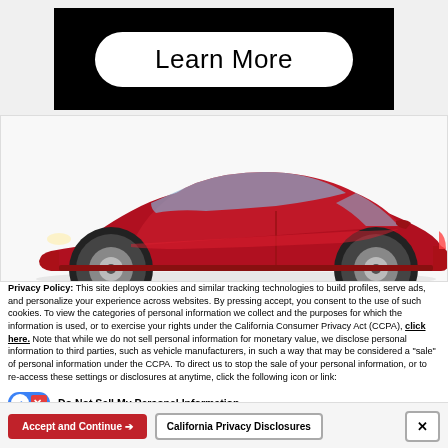[Figure (screenshot): Black banner with 'Learn More' button in white pill shape]
[Figure (photo): Red sedan car on white/grey background, side-profile view]
Privacy Policy: This site deploys cookies and similar tracking technologies to build profiles, serve ads, and personalize your experience across websites. By pressing accept, you consent to the use of such cookies. To view the categories of personal information we collect and the purposes for which the information is used, or to exercise your rights under the California Consumer Privacy Act (CCPA), click here. Note that while we do not sell personal information for monetary value, we disclose personal information to third parties, such as vehicle manufacturers, in such a way that may be considered a "sale" of personal information under the CCPA. To direct us to stop the sale of your personal information, or to re-access these settings or disclosures at anytime, click the following icon or link:
Do Not Sell My Personal Information
Language: English  ∨  Powered by ComplyAuto
Accept and Continue →   California Privacy Disclosures   ×